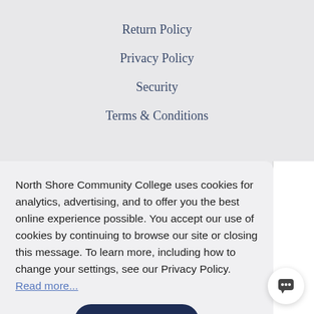Return Policy
Privacy Policy
Security
Terms & Conditions
North Shore Community College uses cookies for analytics, advertising, and to offer you the best online experience possible. You accept our use of cookies by continuing to browse our site or closing this message. To learn more, including how to change your settings, see our Privacy Policy. Read more...
Accept